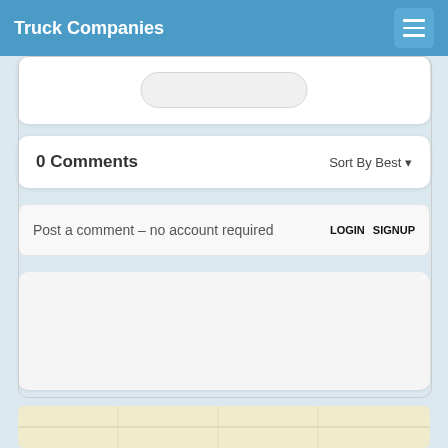Truck Companies
0 Comments   Sort By Best
Post a comment – no account required LOGIN  SIGNUP